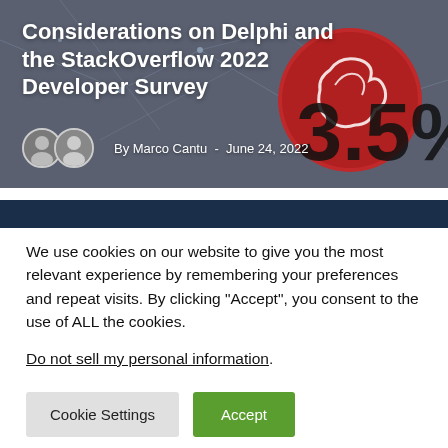[Figure (screenshot): Hero banner image with dark network/tech background showing partial Delphi logo (red circle with hand) and '3.5%' text on the right, overlaid with white title text and author info]
Considerations on Delphi and the StackOverflow 2022 Developer Survey
By Marco Cantu  -  June 24, 2022
We use cookies on our website to give you the most relevant experience by remembering your preferences and repeat visits. By clicking "Accept", you consent to the use of ALL the cookies.
Do not sell my personal information.